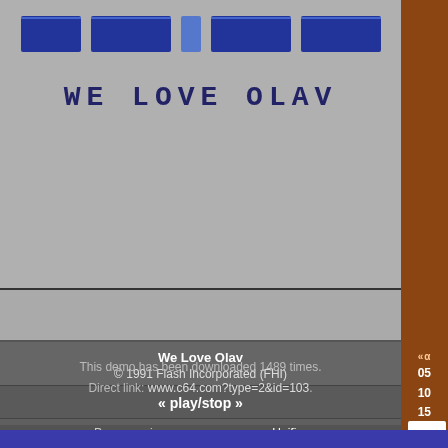[Figure (screenshot): Demo game/intro screen showing pixel art logo for 'We Love Olav' on gray background]
WE LOVE OLAV
We Love Olav
© 1991 Flash Incorporated (FHI)
« play/stop »
| Role | Name |
| --- | --- |
| Programming: | Unifier |
| Graphics: | Morpheus |
| Graphics: | Scorp |
| Music: | Shade |
Your comments
Creator's comment
Scrolltext
Download
Your comments
There are no comments for this demo.
This demo has been downloaded 1489 times.
Direct link: www.c64.com?type=2&id=103.